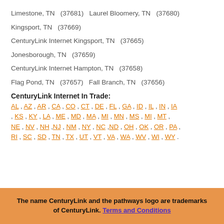Limestone, TN   (37681)   Laurel Bloomery, TN   (37680)
Kingsport, TN   (37669)
CenturyLink Internet Kingsport, TN   (37665)
Jonesborough, TN   (37659)
CenturyLink Internet Hampton, TN   (37658)
Flag Pond, TN   (37657)   Fall Branch, TN   (37656)
CenturyLink Internet In Trade:
AL , AZ , AR , CA , CO , CT , DE , FL , GA , ID , IL , IN , IA , KS , KY , LA , ME , MD , MA , MI , MN , MS , MI , MT , NE , NV , NH , NJ , NM , NY , NC , ND , OH , OK , OR , PA , RI , SC , SD , TN , TX , UT , VT , VA , WA , WV , WI , WY .
The name CenturyLink and the pathways logo are trademarks of CenturyLink. Terms and Conditions